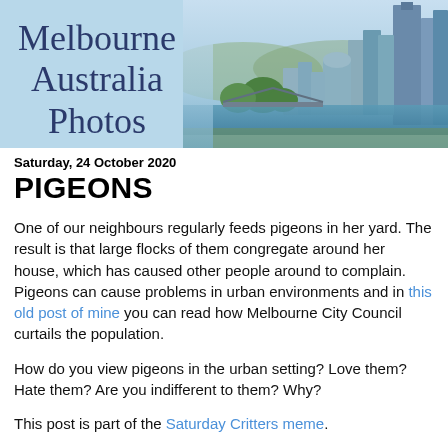[Figure (photo): Banner header with light blue background showing 'Melbourne Australia Photos' text on the left and a aerial cityscape photo of Melbourne on the right showing the river, bridges, and city skyline.]
Saturday, 24 October 2020
PIGEONS
One of our neighbours regularly feeds pigeons in her yard. The result is that large flocks of them congregate around her house, which has caused other people around to complain. Pigeons can cause problems in urban environments and in this old post of mine you can read how Melbourne City Council curtails the population.
How do you view pigeons in the urban setting? Love them? Hate them? Are you indifferent to them? Why?
This post is part of the Saturday Critters meme.